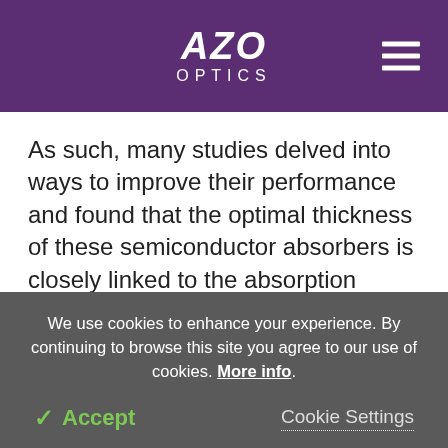AZO OPTICS
As such, many studies delved into ways to improve their performance and found that the optimal thickness of these semiconductor absorbers is closely linked to the absorption coefficients, thus the goal would be to find an ultrathin solar cell capable of having a high absorption efficiency, quantum efficiency and ultimate performance while reducing cost, weight and manufacturing. But, while aiming for
We use cookies to enhance your experience. By continuing to browse this site you agree to our use of cookies. More info.
✔ Accept
Cookie Settings